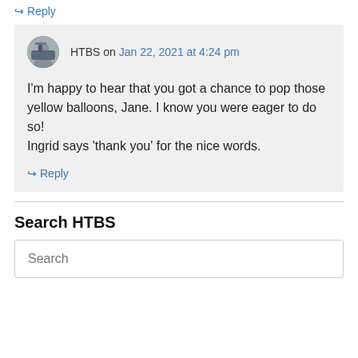↪ Reply
HTBS on Jan 22, 2021 at 4:24 pm
I'm happy to hear that you got a chance to pop those yellow balloons, Jane. I know you were eager to do so!
Ingrid says 'thank you' for the nice words.
↪ Reply
Search HTBS
Search